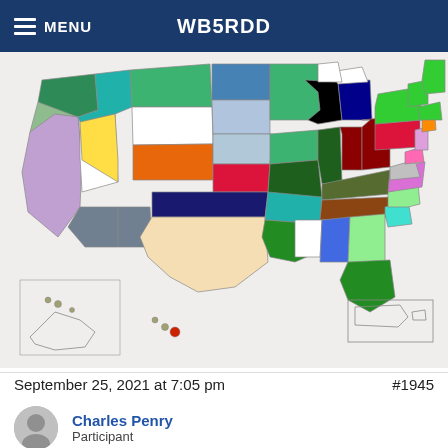MENU   WB5RDD
[Figure (map): Colorful US state map showing contacts/activations by state for amateur radio operator WB5RDD, with each state filled in a different color indicating contacts made. Alaska and Hawaii shown as insets at lower left; Puerto Rico inset at lower right.]
September 25, 2021 at 7:05 pm   #1945
Charles Penry
Participant